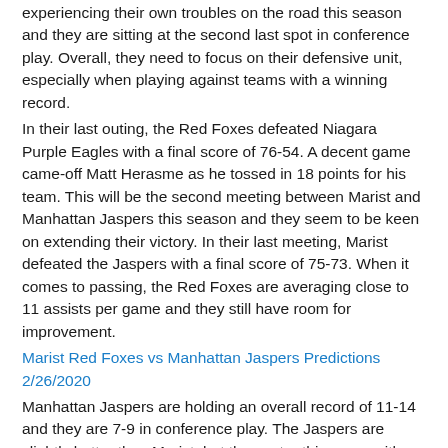experiencing their own troubles on the road this season and they are sitting at the second last spot in conference play. Overall, they need to focus on their defensive unit, especially when playing against teams with a winning record.
In their last outing, the Red Foxes defeated Niagara Purple Eagles with a final score of 76-54. A decent game came-off Matt Herasme as he tossed in 18 points for his team. This will be the second meeting between Marist and Manhattan Jaspers this season and they seem to be keen on extending their victory. In their last meeting, Marist defeated the Jaspers with a final score of 75-73. When it comes to passing, the Red Foxes are averaging close to 11 assists per game and they still have room for improvement.
Marist Red Foxes vs Manhattan Jaspers Predictions 2/26/2020
Manhattan Jaspers are holding an overall record of 11-14 and they are 7-9 in conference play. The Jaspers are slightly better than Marist, but they enter this game with a